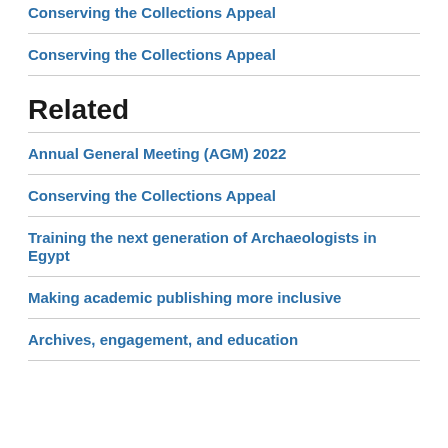Conserving the Collections Appeal
Conserving the Collections Appeal
Related
Annual General Meeting (AGM) 2022
Conserving the Collections Appeal
Training the next generation of Archaeologists in Egypt
Making academic publishing more inclusive
Archives, engagement, and education